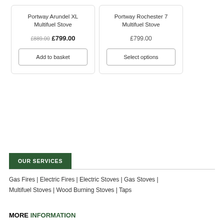Portway Arundel XL Multifuel Stove
£889.00 £799.00
Add to basket
Portway Rochester 7 Multifuel Stove
£799.00
Select options
OUR SERVICES
Gas Fires | Electric Fires | Electric Stoves | Gas Stoves | Multifuel Stoves | Wood Burning Stoves | Taps
MORE INFORMATION